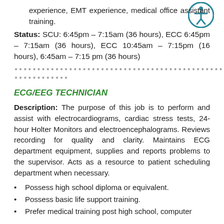experience, EMT experience, medical office assistant training.
Status:   SCU: 6:45pm – 7:15am (36 hours), ECC 6:45pm – 7:15am (36 hours), ECC 10:45am – 7:15pm (16 hours), 6:45am – 7:15 pm (36 hours)
****************************************************
************
ECG/EEG TECHNICIAN
Description:  The purpose of this job is to perform and assist with electrocardiograms, cardiac stress tests, 24-hour Holter Monitors and electroencephalograms.  Reviews recording for quality and clarity.  Maintains ECG department equipment, supplies and reports problems to the supervisor.  Acts as a resource to patient scheduling department when necessary.
Possess high school diploma or equivalent.
Possess basic life support training.
Prefer medical training post high school, computer